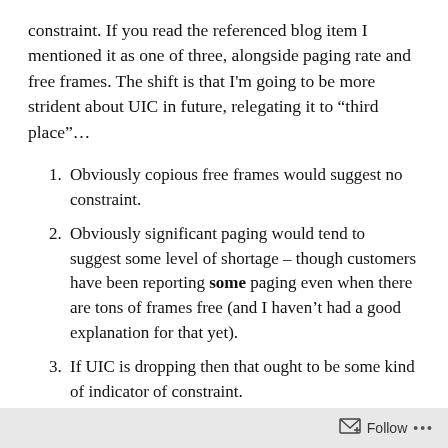constraint. If you read the referenced blog item I mentioned it as one of three, alongside paging rate and free frames. The shift is that I'm going to be more strident about UIC in future, relegating it to “third place”…
Obviously copious free frames would suggest no constraint.
Obviously significant paging would tend to suggest some level of shortage – though customers have been reporting some paging even when there are tons of frames free (and I haven’t had a good explanation for that yet).
If UIC is dropping then that ought to be some kind of indicator of constraint.
Follow ...